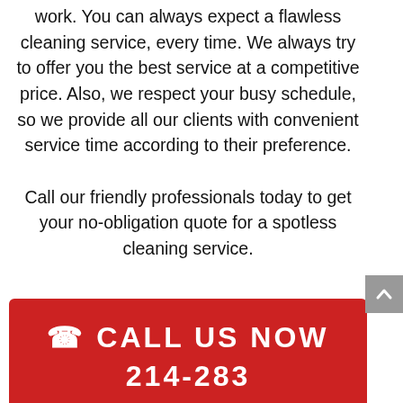work. You can always expect a flawless cleaning service, every time. We always try to offer you the best service at a competitive price. Also, we respect your busy schedule, so we provide all our clients with convenient service time according to their preference.

Call our friendly professionals today to get your no-obligation quote for a spotless cleaning service.
📞 CALL US NOW 214-283-8900